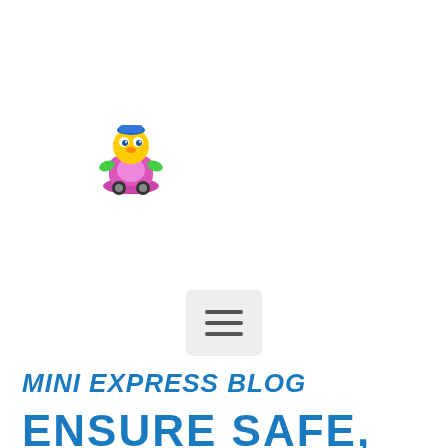[Figure (illustration): Colorful toy character logo — a small figure with blue, yellow, pink and green colors resembling a children's toy train/character mascot]
[Figure (other): Hamburger menu icon — three horizontal lines inside a rounded rectangle, gray background]
MINI EXPRESS BLOG
ENSURE SAFE,